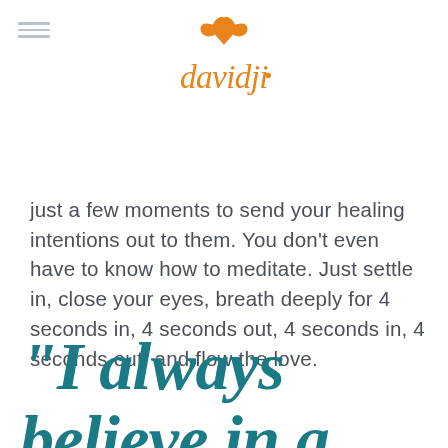[Figure (logo): davidji logo in orange with decorative infinity/flourish mark above the text]
just a few moments to send your healing intentions out to them. You don't even have to know how to meditate. Just settle in, close your eyes, breath deeply for 4 seconds in, 4 seconds out, 4 seconds in, 4 seconds out, and flow the love.
“I always believe in a